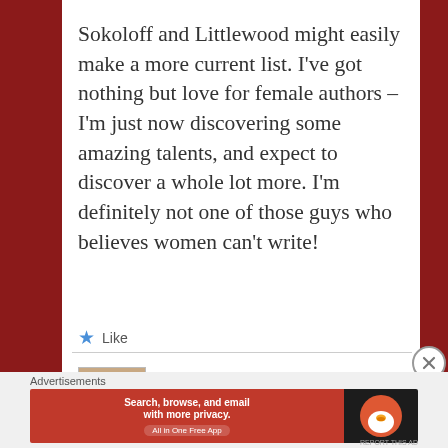Sokoloff and Littlewood might easily make a more current list. I've got nothing but love for female authors – I'm just now discovering some amazing talents, and expect to discover a whole lot more. I'm definitely not one of those guys who believes women can't write!
★ Like
Jackie Weger // August 27, 2013 at 4:11 pm //
Reply
Advertisements
[Figure (screenshot): DuckDuckGo advertisement banner: orange/red left panel with text 'Search, browse, and email with more privacy. All in One Free App' and dark right panel with DuckDuckGo duck logo]